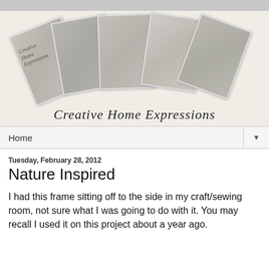[Figure (photo): Blog header banner for 'Creative Home Expressions' showing a fan of five photo cards displaying shabby chic home decor items including chairs, furnishings, and decorative objects, on a light beige background. The blog title 'Creative Home Expressions' appears in italic serif font at the bottom of the banner.]
Home ▼
Tuesday, February 28, 2012
Nature Inspired
I had this frame sitting off to the side in my craft/sewing room, not sure what I was going to do with it.  You may recall I used it on this project about a year ago.